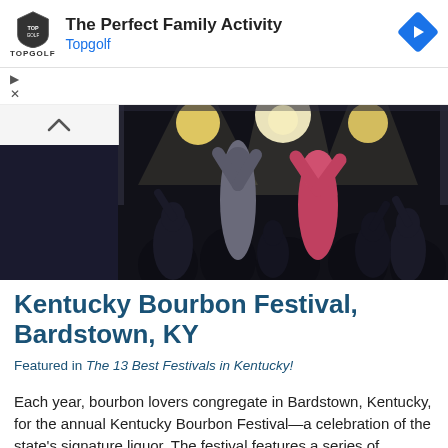[Figure (other): Topgolf advertisement banner with logo, headline 'The Perfect Family Activity', 'Topgolf' link, and diamond navigation icon]
[Figure (photo): Concert/festival crowd scene at night with stage lights, people with raised hands]
Kentucky Bourbon Festival, Bardstown, KY
Featured in The 13 Best Festivals in Kentucky!
Each year, bourbon lovers congregate in Bardstown, Kentucky, for the annual Kentucky Bourbon Festival—a celebration of the state's signature liquor. The festival features a series of… Read More